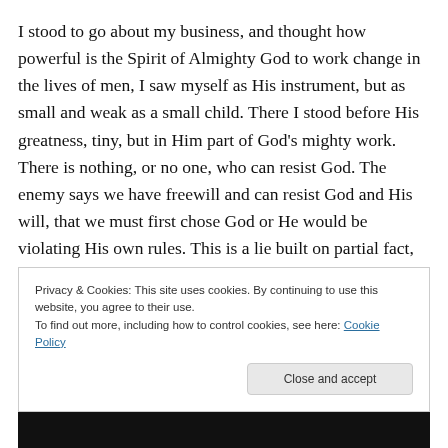I stood to go about my business, and thought how powerful is the Spirit of Almighty God to work change in the lives of men, I saw myself as His instrument, but as small and weak as a small child. There I stood before His greatness, tiny, but in Him part of God's mighty work. There is nothing, or no one, who can resist God. The enemy says we have freewill and can resist God and His will, that we must first chose God or He would be violating His own rules. This is a lie built on partial fact, but be assured when God reveals His infinite love to a person, he
Privacy & Cookies: This site uses cookies. By continuing to use this website, you agree to their use.
To find out more, including how to control cookies, see here: Cookie Policy
Close and accept